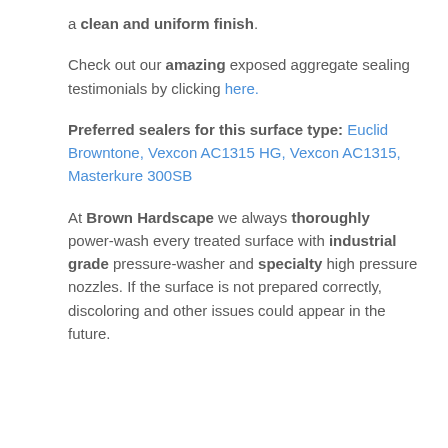a clean and uniform finish.
Check out our amazing exposed aggregate sealing testimonials by clicking here.
Preferred sealers for this surface type: Euclid Browntone, Vexcon AC1315 HG, Vexcon AC1315, Masterkure 300SB
At Brown Hardscape we always thoroughly power-wash every treated surface with industrial grade pressure-washer and specialty high pressure nozzles. If the surface is not prepared correctly, discoloring and other issues could appear in the future.